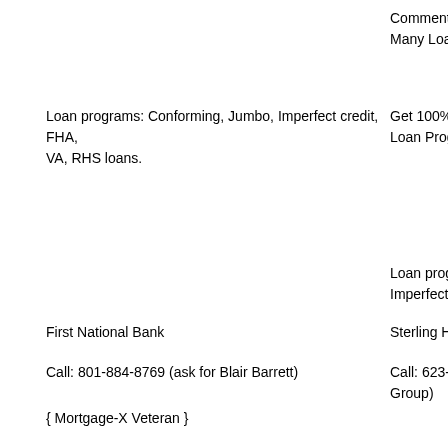Comment: Get Many Loan Pr…
Loan programs: Conforming, Jumbo, Imperfect credit, FHA, VA, RHS loans.
Get 100% Fina… Loan Program…
Loan programs: Imperfect cred…
First National Bank
Sterling Home…
Call: 801-884-8769 (ask for Blair Barrett)
Call: 623-255-… Group)
{ Mortgage-X Veteran }
Comment: FHA… Broker with sp… online 24/7 wit… applications, s… and close soon… MN, NM, SD a… commercial am…